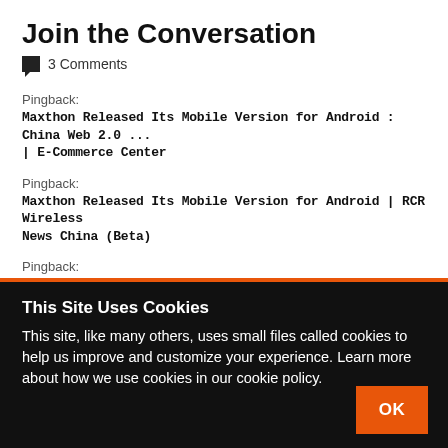Join the Conversation
3 Comments
Pingback:
Maxthon Released Its Mobile Version for Android : China Web 2.0 ... | E-Commerce Center
Pingback:
Maxthon Released Its Mobile Version for Android | RCR Wireless News China (Beta)
Pingback:
This Site Uses Cookies
This site, like many others, uses small files called cookies to help us improve and customize your experience. Learn more about how we use cookies in our cookie policy.
OK